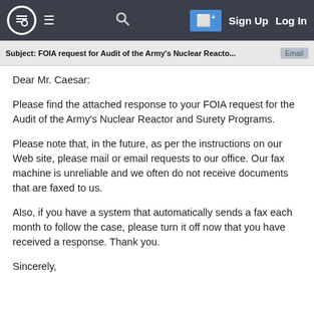Subject: FOIA request for Audit of the Army's Nuclear Reacto... Email
Dear Mr. Caesar:
Please find the attached response to your FOIA request for the Audit of the Army's Nuclear Reactor and Surety Programs.
Please note that, in the future, as per the instructions on our Web site, please mail or email requests to our office. Our fax machine is unreliable and we often do not receive documents that are faxed to us.
Also, if you have a system that automatically sends a fax each month to follow the case, please turn it off now that you have received a response. Thank you.
Sincerely,